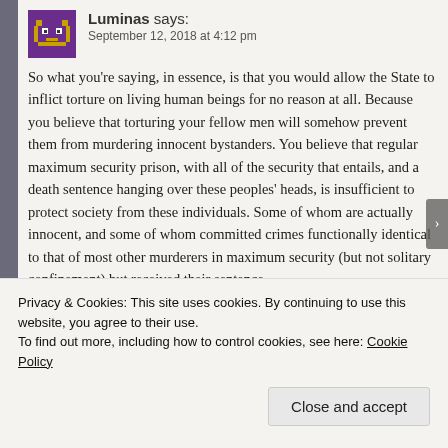Luminas says: September 12, 2018 at 4:12 pm
So what you’re saying, in essence, is that you would allow the State to inflict torture on living human beings for no reason at all. Because you believe that torturing your fellow men will somehow prevent them from murdering innocent bystanders. You believe that regular maximum security prison, with all of the security that entails, and a death sentence hanging over these peoples’ heads, is insufficient to protect society from these individuals. Some of whom are actually innocent, and some of whom committed crimes functionally identical to that of most other murderers in maximum security (but not solitary confinement) but received their sentence
Privacy & Cookies: This site uses cookies. By continuing to use this website, you agree to their use.
To find out more, including how to control cookies, see here: Cookie Policy